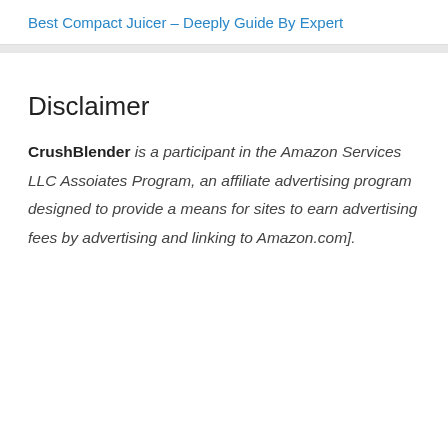Best Compact Juicer – Deeply Guide By Expert
Disclaimer
CrushBlender is a participant in the Amazon Services LLC Assoiates Program, an affiliate advertising program designed to provide a means for sites to earn advertising fees by advertising and linking to Amazon.com].